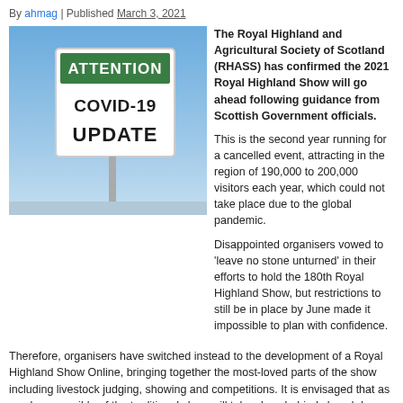By ahmag | Published March 3, 2021
[Figure (photo): A road sign reading ATTENTION COVID-19 UPDATE against a blue sky background]
The Royal Highland and Agricultural Society of Scotland (RHASS) has confirmed the 2021 Royal Highland Show will go ahead following guidance from Scottish Government officials.
This is the second year running for a cancelled event, attracting in the region of 190,000 to 200,000 visitors each year, which could not take place due to the global pandemic.
Disappointed organisers vowed to 'leave no stone unturned' in their efforts to hold the 180th Royal Highland Show, but restrictions to still be in place by June made it impossible to plan with confidence.
Therefore, organisers have switched instead to the development of a Royal Highland Show Online, bringing together the most-loved parts of the show including livestock judging, showing and competitions. It is envisaged that as much as possible of the traditional show will take place behind closed doors at the showground and be livestreamed across the globe.
Commenting on the plans, current RHASS Chairman Bill Sandilands said: "It is with deep...